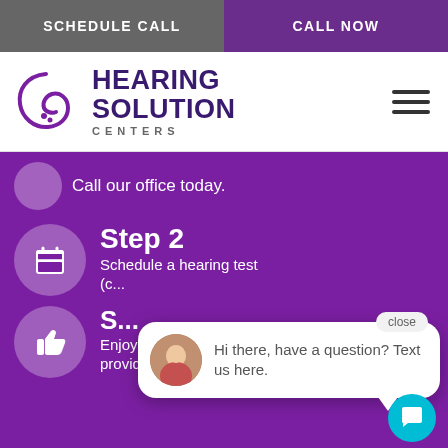SCHEDULE CALL | CALL NOW
[Figure (logo): Hearing Solution Centers logo with purple ear/swirl icon]
Call our office today.
Step 2
Schedule a hearing test (c...
S...
Enjoy better hearing as we provide the perfect solution!
Hi there, have a question? Text us here.
Take the first step, call now